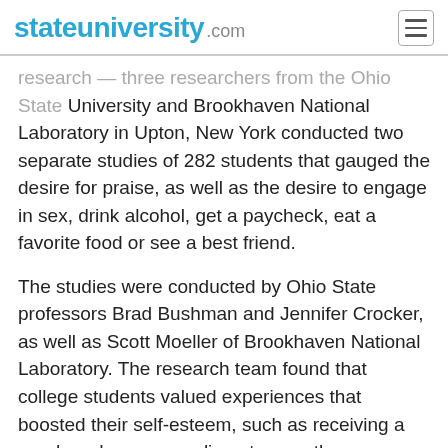stateuniversity.com
research — three researchers from the Ohio State University and Brookhaven National Laboratory in Upton, New York conducted two separate studies of 282 students that gauged the desire for praise, as well as the desire to engage in sex, drink alcohol, get a paycheck, eat a favorite food or see a best friend.
The studies were conducted by Ohio State professors Brad Bushman and Jennifer Crocker, as well as Scott Moeller of Brookhaven National Laboratory. The research team found that college students valued experiences that boosted their self-esteem, such as receiving a good grade or a compliment, more than any other pleasant activity they were asked about.